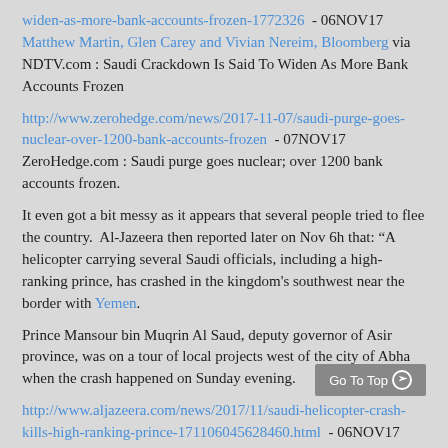widen-as-more-bank-accounts-frozen-1772326 - 06NOV17 Matthew Martin, Glen Carey and Vivian Nereim, Bloomberg via NDTV.com : Saudi Crackdown Is Said To Widen As More Bank Accounts Frozen
http://www.zerohedge.com/news/2017-11-07/saudi-purge-goes-nuclear-over-1200-bank-accounts-frozen - 07NOV17 ZeroHedge.com : Saudi purge goes nuclear; over 1200 bank accounts frozen.
It even got a bit messy as it appears that several people tried to flee the country. Al-Jazeera then reported later on Nov 6h that: “A helicopter carrying several Saudi officials, including a high-ranking prince, has crashed in the kingdom's southwest near the border with Yemen.
Prince Mansour bin Muqrin Al Saud, deputy governor of Asir province, was on a tour of local projects west of the city of Abha when the crash happened on Sunday evening.
http://www.aljazeera.com/news/2017/11/saudi-helicopter-crash-kills-high-ranking-prince-171106045628460.html - 06NOV17